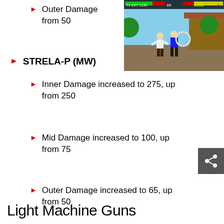Outer Damage from 50
[Figure (screenshot): Video game screenshot showing a fighting game scene with two characters, a HUD bar at top, set in an outdoor courtyard environment.]
STRELA-P (MW)
Inner Damage increased to 275, up from 250
Mid Damage increased to 100, up from 75
Outer Damage increased to 65, up from 50
Light Machine Guns